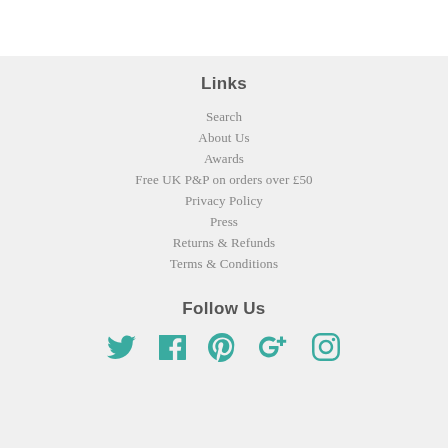Links
Search
About Us
Awards
Free UK P&P on orders over £50
Privacy Policy
Press
Returns & Refunds
Terms & Conditions
Follow Us
[Figure (infographic): Social media icons: Twitter, Facebook, Pinterest, Google+, Instagram in teal color]